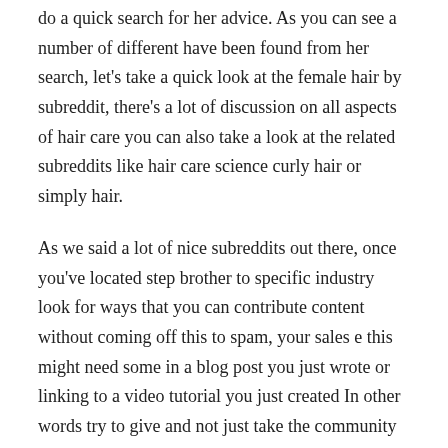do a quick search for her advice. As you can see a number of different have been found from her search, let's take a quick look at the female hair by subreddit, there's a lot of discussion on all aspects of hair care you can also take a look at the related subreddits like hair care science curly hair or simply hair.
As we said a lot of nice subreddits out there, once you've located step brother to specific industry look for ways that you can contribute content without coming off this to spam, your sales e this might need some in a blog post you just wrote or linking to a video tutorial you just created In other words try to give and not just take the community will be much more accepting also. It's important to know that you separate it has its own specific rules that are displayed in the panel on the right some sort of stone allow for promotional material, so it's basically posting an ad for your store is not allowed tip number for get friends and family to share are you at that age and all your Facebook friends are posting pictures of their babies isn't it annoying well.